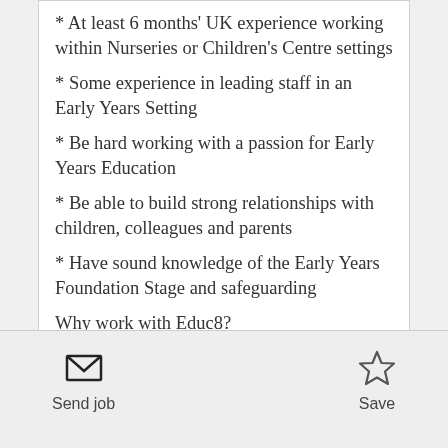* At least 6 months' UK experience working within Nurseries or Children's Centre settings
* Some experience in leading staff in an Early Years Setting
* Be hard working with a passion for Early Years Education
* Be able to build strong relationships with children, colleagues and parents
* Have sound knowledge of the Early Years Foundation Stage and safeguarding
Why work with Educ8?
Educ8 recruits for a wide range of schools and other
Send job | Save